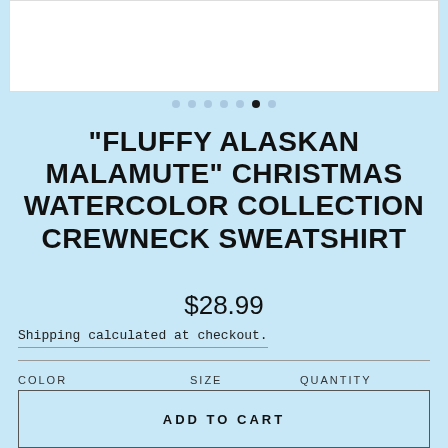[Figure (photo): Product image preview area (white box)]
"FLUFFY ALASKAN MALAMUTE" CHRISTMAS WATERCOLOR COLLECTION CREWNECK SWEATSHIRT
$28.99
Shipping calculated at checkout.
COLOR: Antique Sapphire  SIZE: S  QUANTITY: 1
ADD TO CART